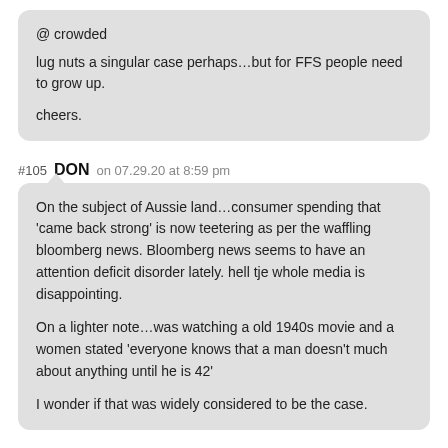@ crowded
lug nuts a singular case perhaps…but for FFS people need to grow up.

cheers.
#105  DON  on 07.29.20 at 8:59 pm
On the subject of Aussie land…consumer spending that 'came back strong' is now teetering as per the waffling bloomberg news. Bloomberg news seems to have an attention deficit disorder lately. hell tje whole media is disappointing.

On a lighter note…was watching a old 1940s movie and a women stated 'everyone knows that a man doesn't much about anything until he is 42'

I wonder if that was widely considered to be the case.
#106  MF  on 07.29.20 at 9:04 pm